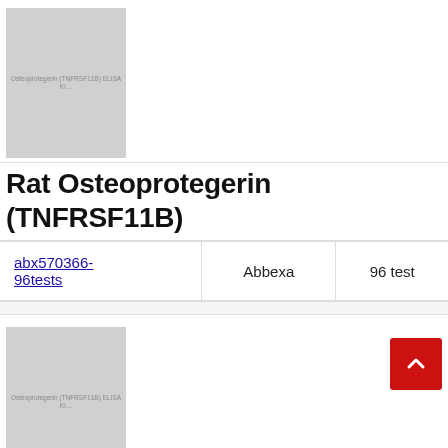[Figure (photo): Product image placeholder for Rat Osteoprotegerin (TNFRSF11B) ELISA kit, gray rectangle with small text label]
Rat Osteoprotegerin (TNFRSF11B)
| Product ID | Supplier | Size |
| --- | --- | --- |
| abx570366-96tests | Abbexa | 96 tests |
[Figure (photo): Product image placeholder for Rat Osteoprotegerin (TNFRSF11B) ELISA kit, gray rectangle with small text label]
Rat Osteoprotegerin (TNFRSF11B)
| Product ID | Supplier | Size |
| --- | --- | --- |
| abx255875-96tests | Abbexa | 96 tests |